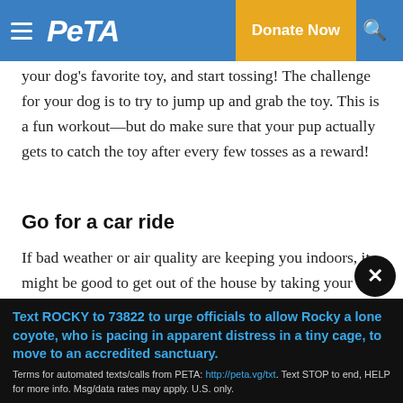PETA — Donate Now
your dog's favorite toy, and start tossing! The challenge for your dog is to try to jump up and grab the toy. This is a fun workout—but do make sure that your pup actually gets to catch the toy after every few tosses as a reward!
Go for a car ride
If bad weather or air quality are keeping you indoors, it might be good to get out of the house by taking your canine companion for a car ride. Riding in the car gives dogs an exciting adventure, allowing them to explore while keeping them out of harsh weather.
Text ROCKY to 73822 to urge officials to allow Rocky a lone coyote, who is pacing in apparent distress in a tiny cage, to move to an accredited sanctuary.
Terms for automated texts/calls from PETA: http://peta.vg/txt. Text STOP to end, HELP for more info. Msg/data rates may apply. U.S. only.